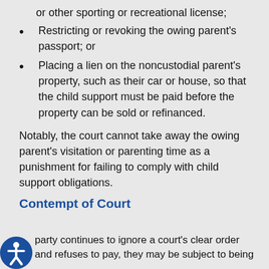or other sporting or recreational license;
Restricting or revoking the owing parent's passport; or
Placing a lien on the noncustodial parent's property, such as their car or house, so that the child support must be paid before the property can be sold or refinanced.
Notably, the court cannot take away the owing parent's visitation or parenting time as a punishment for failing to comply with child support obligations.
Contempt of Court
party continues to ignore a court's clear order and refuses to pay, they may be subject to being